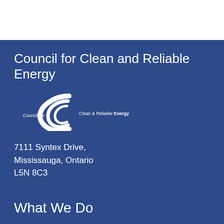Council for Clean and Reliable Energy
[Figure (logo): Council for Clean & Reliable Energy logo — a stylized white 'C' swoosh with text 'Council for Clean & Reliable Energy']
7111 Syntex Drive,
Mississauga, Ontario
L5N 8C3
What We Do